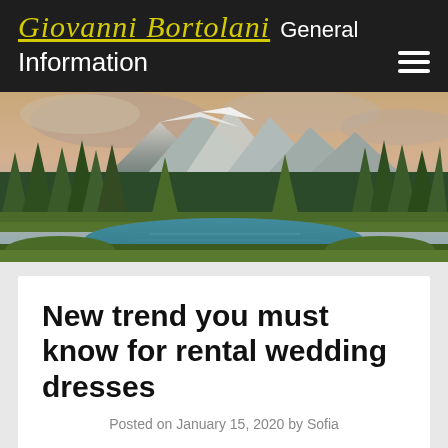Giovanni Bortolani General Information
[Figure (photo): Scenic landscape photo showing a mountain lake surrounded by evergreen pine trees with snow-capped mountains in the background under a dramatic cloudy sky]
New trend you must know for rental wedding dresses
Posted on January 15, 2020 by Sofia